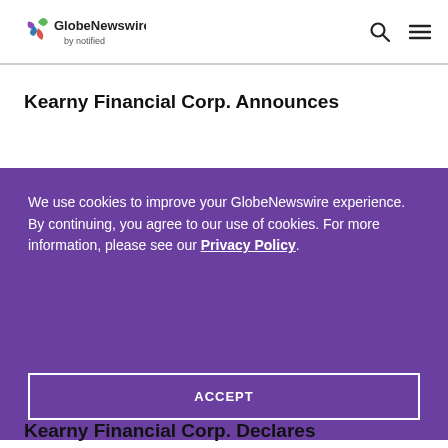GlobeNewswire by notified
Kearny Financial Corp. Announces
We use cookies to improve your GlobeNewswire experience. By continuing, you agree to our use of cookies. For more information, please see our Privacy Policy.
ACCEPT
Kearny Financial Corp. Declares